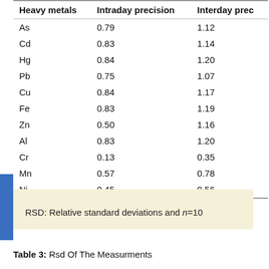| Heavy metals | Intraday precision | Interday precision |
| --- | --- | --- |
| As | 0.79 | 1.12 |
| Cd | 0.83 | 1.14 |
| Hg | 0.84 | 1.20 |
| Pb | 0.75 | 1.07 |
| Cu | 0.84 | 1.17 |
| Fe | 0.83 | 1.19 |
| Zn | 0.50 | 1.16 |
| Al | 0.83 | 1.20 |
| Cr | 0.13 | 0.35 |
| Mn | 0.57 | 0.78 |
| Ni | 0.45 | 0.56 |
RSD: Relative standard deviations and n=10
Table 3: Rsd Of The Measurments